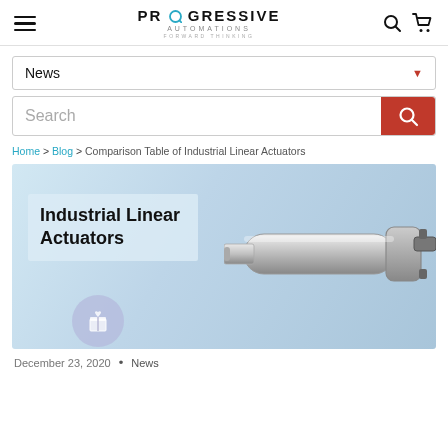Progressive Automations — Forward Thinking
News
Search
Home > Blog > Comparison Table of Industrial Linear Actuators
[Figure (photo): Industrial linear actuator product photo with text overlay 'Industrial Linear Actuators' on a light blue background]
December 23, 2020  •  News